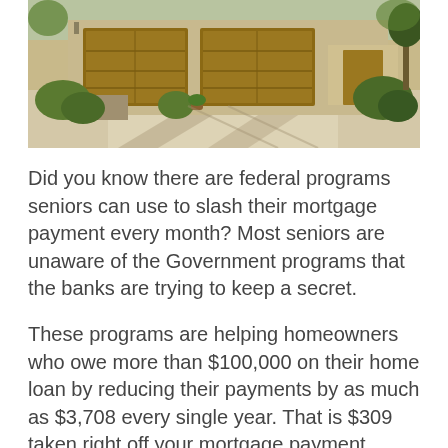[Figure (photo): Exterior photo of a residential house with two brown garage doors, a concrete driveway, landscaping with shrubs and plants, and a stone or stucco exterior wall. Sunny day with shadows on the driveway.]
Did you know there are federal programs seniors can use to slash their mortgage payment every month? Most seniors are unaware of the Government programs that the banks are trying to keep a secret.
These programs are helping homeowners who owe more than $100,000 on their home loan by reducing their payments by as much as $3,708 every single year. That is $309 taken right off your mortgage payment every single month, which is a huge discount